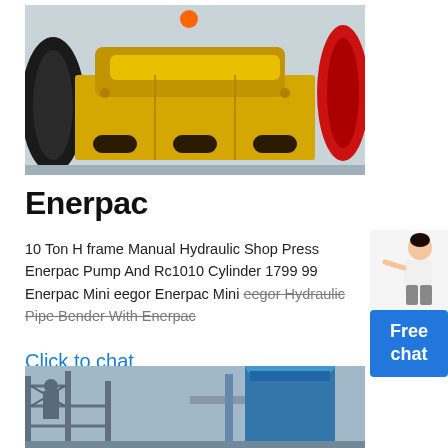[Figure (photo): Yellow industrial jaw crusher or hydraulic press machine with black flywheel on the left and red wheel on the right, photographed in a factory setting with gray walls.]
Enerpac
10 Ton H frame Manual Hydraulic Shop Press Enerpac Pump And Rc1010 Cylinder 1799 99 Enerpac Mini eegor Enerpac Mini eegor Hydraulic Pipe Bender With Enerpac
Click to chat
[Figure (photo): Industrial facility or construction site with scaffolding and a blue cylindrical silo or storage tank.]